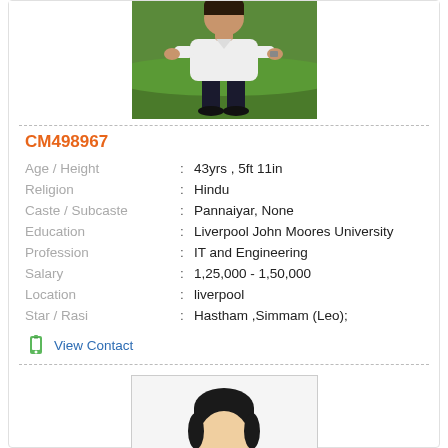[Figure (photo): Profile photo of a man in a white shirt crouching on green grass]
CM498967
| Field | Colon | Value |
| --- | --- | --- |
| Age / Height | : | 43yrs , 5ft 11in |
| Religion | : | Hindu |
| Caste / Subcaste | : | Pannaiyar, None |
| Education | : | Liverpool John Moores University |
| Profession | : | IT and Engineering |
| Salary | : | 1,25,000 - 1,50,000 |
| Location | : | liverpool |
| Star / Rasi | : | Hastham ,Simmam (Leo); |
View Contact
[Figure (illustration): Generic male avatar illustration with black hair and peach/tan face, shown from shoulders up, inside a bordered box]